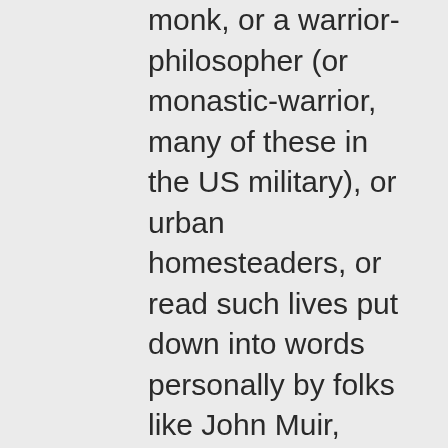monk, or a warrior-philosopher (or monastic-warrior, many of these in the US military), or urban homesteaders, or read such lives put down into words personally by folks like John Muir, Thoreau, etc. I appreciate it.
So recognition of an austere life is easy, it's contentment with less TO absolutely pure pleasure of not having anything. Conversely, the opposite of austerity is even simpler to recognize, it's